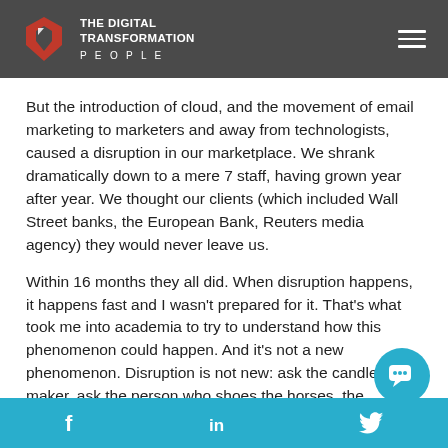THE DIGITAL TRANSFORMATION PEOPLE
But the introduction of cloud, and the movement of email marketing to marketers and away from technologists, caused a disruption in our marketplace. We shrank dramatically down to a mere 7 staff, having grown year after year. We thought our clients (which included Wall Street banks, the European Bank, Reuters media agency) they would never leave us.
Within 16 months they all did. When disruption happens, it happens fast and I wasn't prepared for it. That's what took me into academia to try to understand how this phenomenon could happen. And it's not a new phenomenon. Disruption is not new: ask the candlestick maker, ask the person who shoes the horses, the blacksmith
f   in   Twitter